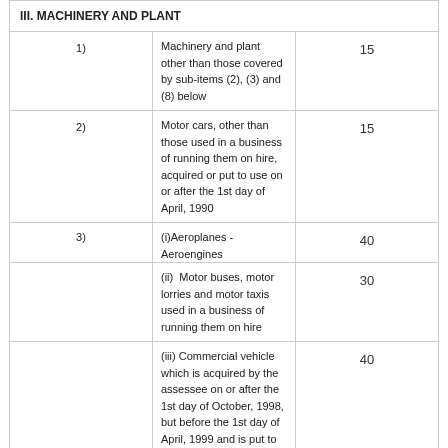|  | Description | Rate (%) |
| --- | --- | --- |
|  | III. MACHINERY AND PLANT |  |
| 1) | Machinery and plant other than those covered by sub-items (2), (3) and (8) below | 15 |
| 2) | Motor cars, other than those used in a business of running them on hire, acquired or put to use on or after the 1st day of April, 1990 | 15 |
| 3) | (i)Aeroplanes - Aeroengines | 40 |
|  | (ii) Motor buses, motor lorries and motor taxis used in a business of running them on hire | 30 |
|  | (iii) Commercial vehicle which is acquired by the assessee on or after the 1st day of October, 1998, but before the 1st day of April, 1999 and is put to use for any period before the 1st day of April, 1999 for the purposes of business or profession in accordance with the third proviso to clause (ii) of sub-section (1) of section 32
[ See Note 6 below the Table] | 40 |
|  | (iv) New commercial vehicle which is acquired on or after the 1st day of October, 1998, but before the 1st day of April, 1999 | 40 |